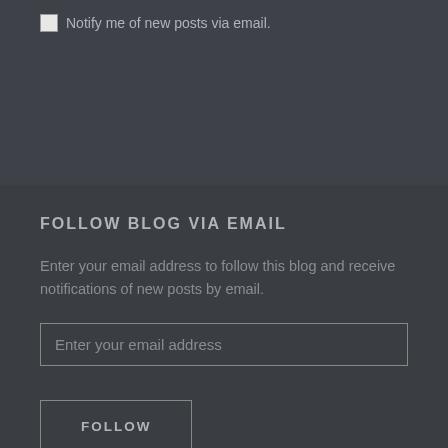Notify me of new posts via email.
FOLLOW BLOG VIA EMAIL
Enter your email address to follow this blog and receive notifications of new posts by email.
Enter your email address
FOLLOW
Join 196 other followers